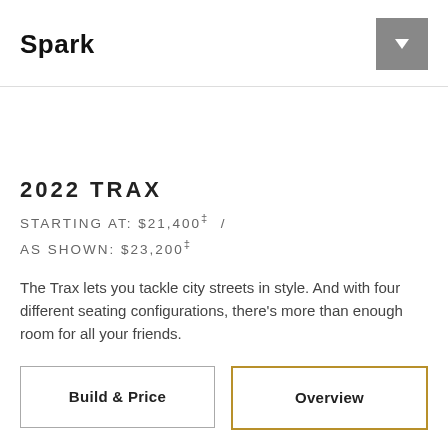Spark
2022 TRAX
STARTING AT: $21,400‡ / AS SHOWN: $23,200‡
The Trax lets you tackle city streets in style. And with four different seating configurations, there's more than enough room for all your friends.
Build & Price
Overview